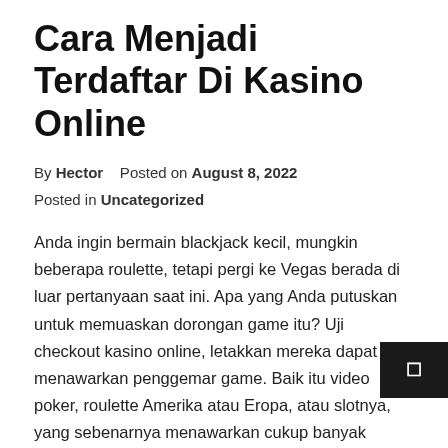Cara Menjadi Terdaftar Di Kasino Online
By Hector   Posted on August 8, 2022
Posted in Uncategorized
Anda ingin bermain blackjack kecil, mungkin beberapa roulette, tetapi pergi ke Vegas berada di luar pertanyaan saat ini. Apa yang Anda putuskan untuk memuaskan dorongan game itu? Uji checkout kasino online, letakkan mereka dapat menawarkan penggemar game. Baik itu video poker, roulette Amerika atau Eropa, atau slotnya, yang sebenarnya menawarkan cukup banyak permainan. Untuk membuat kaki Anda basah di dalam gelas . contoh apa yang ditawarkan kasino online dengan memainkan beberapa permainan uji coba gratis di situs. memungkinkan Anda untuk menjadi lebih nyaman dengan bermain online sebelum Anda mengunduh perangkat lunak atau